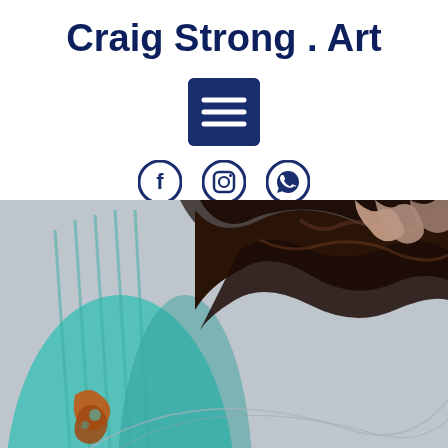Craig Strong . Art
[Figure (other): Dark navy blue hamburger/menu icon button (three horizontal white lines on dark navy rectangle with rounded corners)]
[Figure (other): Three circular social media icons in dark navy: Facebook (f), Instagram (camera outline), WhatsApp (phone/message outline)]
[Figure (photo): Close-up photograph of an abstract painting or sculpture featuring teal/turquoise curved form on left, dark brown/black organic textured branches or twisted forms in center and right, with a light gray background, and orange/amber details near bottom left.]